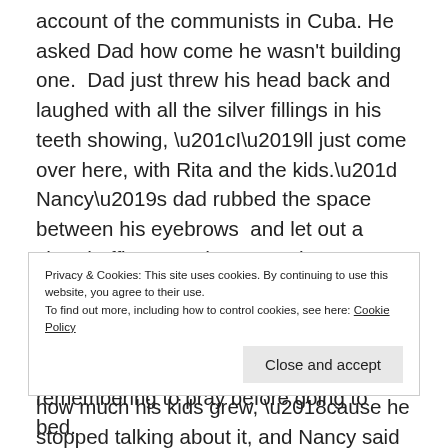account of the communists in Cuba. He asked Dad how come he wasn't building one.  Dad just threw his head back and laughed with all the silver fillings in his teeth showing, “I’ll just come over here, with Rita and the kids.”  Nancy’s dad rubbed the space between his eyebrows  and let out a short huffing sound.  I guess he didn’t think Dad was so funny.  After a while,  Nancy’s dad seemed to get tired of the bomb shelter, just like he got tired of keeping track of how much his kids grew, ‘cause he stopped talking about it, and Nancy said they never had any drills, or went in it, or anything.  I heard Dad tell Mom it was a good thing, ‘cause the whole
Privacy & Cookies: This site uses cookies. By continuing to use this website, you agree to their use.
To find out more, including how to control cookies, see here: Cookie Policy
remembering to pray before going to bed.